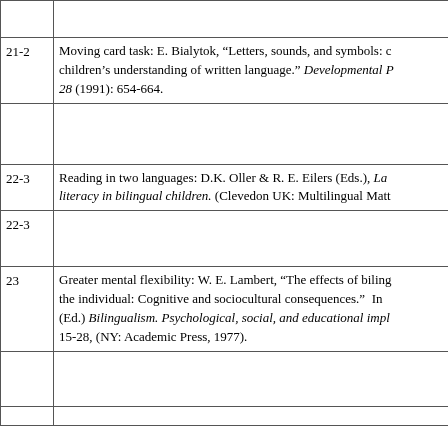|  |  |
| 21-2 | Moving card task: E. Bialytok, “Letters, sounds, and symbols: children's understanding of written language.” Developmental P 28 (1991): 654-664. |
|  |  |
| 22-3 | Reading in two languages: D.K. Oller & R. E. Eilers (Eds.), La literacy in bilingual children. (Clevedon UK: Multilingual Matt |
| 22-3 |  |
| 23 | Greater mental flexibility: W. E. Lambert, “The effects of biling the individual: Cognitive and sociocultural consequences.”  In (Ed.) Bilingualism. Psychological, social, and educational impl 15-28, (NY: Academic Press, 1977). |
|  |  |